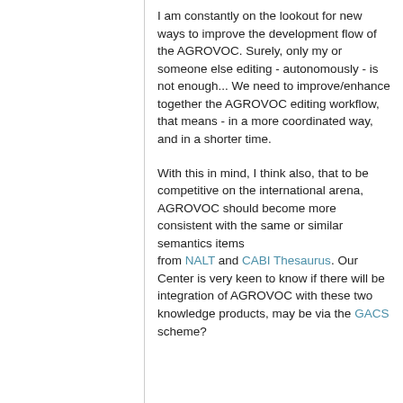I am constantly on the lookout for new ways to improve the development flow of the AGROVOC. Surely, only my or someone else editing - autonomously - is not enough... We need to improve/enhance together the AGROVOC editing workflow, that means - in a more coordinated way, and in a shorter time.
With this in mind, I think also, that to be competitive on the international arena, AGROVOC should become more consistent with the same or similar semantics items from NALT and CABI Thesaurus. Our Center is very keen to know if there will be integration of AGROVOC with these two knowledge products, may be via the GACS scheme?